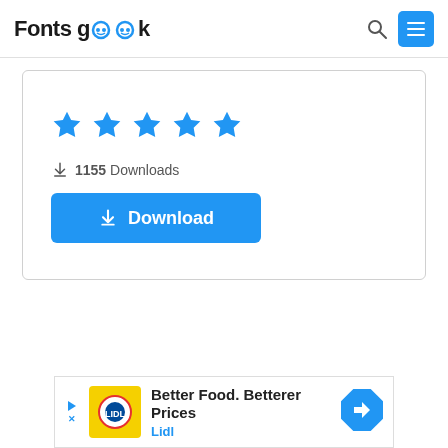Fontsgeek
[Figure (screenshot): Card with 5 blue stars, 1155 Downloads count, and a Download button in blue]
[Figure (infographic): Advertisement banner: Better Food. Betterer Prices - Lidl ad with yellow logo image and blue navigation arrow icon]